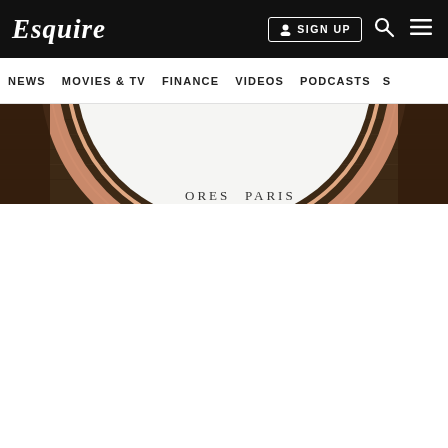Esquire
SIGN UP | NEWS | MOVIES & TV | FINANCE | VIDEOS | PODCASTS
[Figure (photo): Close-up of a luxury watch face and bezel in rose gold, showing partial text 'ORES' and 'PARIS' on the dial, on a brown leather strap background.]